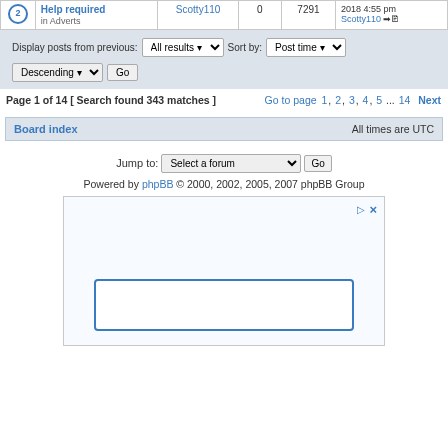|  | Topic | Author | Replies | Views | Last post |
| --- | --- | --- | --- | --- | --- |
| (2) | Help required
in Adverts | Scotty110 | 0 | 7291 | 2018 4:55 pm
Scotty110 |
Display posts from previous: All results ▼  Sort by: Post time ▼  Descending ▼  Go
Page 1 of 14 [ Search found 343 matches ]  Go to page 1, 2, 3, 4, 5 ... 14  Next
Board index  All times are UTC
Jump to: Select a forum ▼  Go
Powered by phpBB © 2000, 2002, 2005, 2007 phpBB Group
[Figure (other): Advertisement placeholder box with play icon and close button in top-right, and a rectangular input/content box at the bottom inside the ad area]